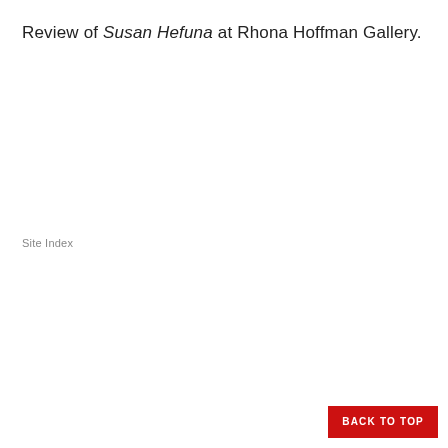Review of Susan Hefuna at Rhona Hoffman Gallery.
Site Index
BACK TO TOP